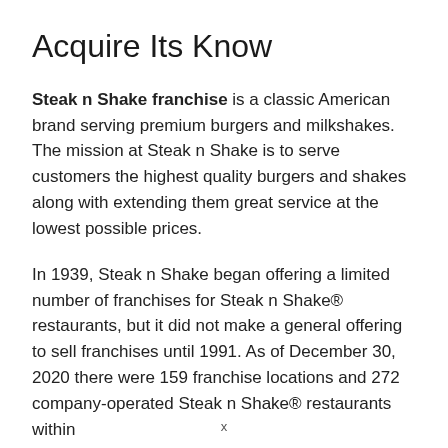Acquire Its Know
Steak n Shake franchise is a classic American brand serving premium burgers and milkshakes. The mission at Steak n Shake is to serve customers the highest quality burgers and shakes along with extending them great service at the lowest possible prices.
In 1939, Steak n Shake began offering a limited number of franchises for Steak n Shake® restaurants, but it did not make a general offering to sell franchises until 1991. As of December 30, 2020 there were 159 franchise locations and 272 company-operated Steak n Shake® restaurants within
x